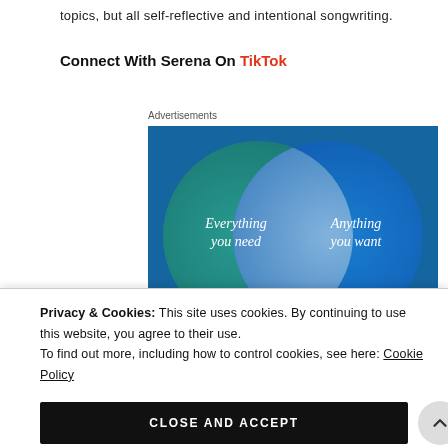topics, but all self-reflective and intentional songwriting.
Connect With Serena On TikTok
Advertisements
[Figure (illustration): Venn diagram advertisement showing two overlapping circles on a teal/blue background. Left circle (teal/green) labeled 'Everything you need', right circle (blue) labeled 'Anything you want', with a lighter overlap region in the center.]
Privacy & Cookies: This site uses cookies. By continuing to use this website, you agree to their use. To find out more, including how to control cookies, see here: Cookie Policy
CLOSE AND ACCEPT